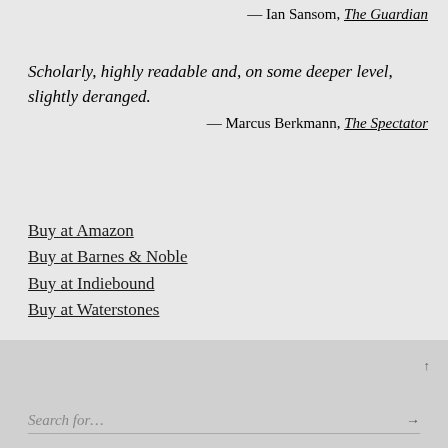— Ian Sansom, The Guardian
Scholarly, highly readable and, on some deeper level, slightly deranged.
— Marcus Berkmann, The Spectator
Buy at Amazon
Buy at Barnes & Noble
Buy at Indiebound
Buy at Waterstones
Search for...